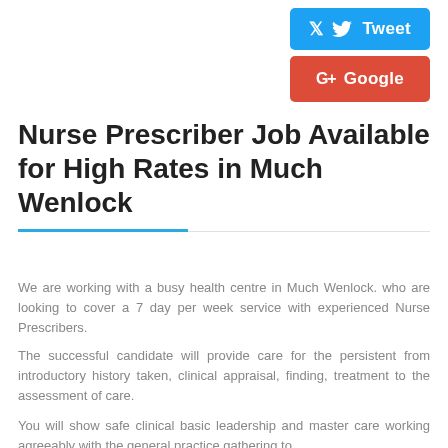[Figure (screenshot): Tweet social share button (blue)]
[Figure (screenshot): Google+ social share button (red)]
Nurse Prescriber Job Available for High Rates in Much Wenlock
We are working with a busy health centre in Much Wenlock. who are looking to cover a 7 day per week service with experienced Nurse Prescribers.
The successful candidate will provide care for the persistent from introductory history taken, clinical appraisal, finding, treatment to the assessment of care.
You will show safe clinical basic leadership and master care working agreeably with the general practice gathering to